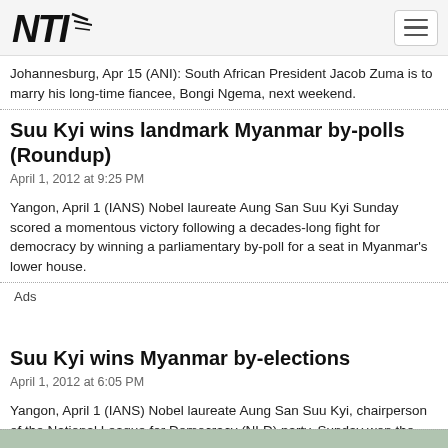NTI logo and navigation
Johannesburg, Apr 15 (ANI): South African President Jacob Zuma is to marry his long-time fiancee, Bongi Ngema, next weekend.
Suu Kyi wins landmark Myanmar by-polls (Roundup)
April 1, 2012 at 9:25 PM
Yangon, April 1 (IANS) Nobel laureate Aung San Suu Kyi Sunday scored a momentous victory following a decades-long fight for democracy by winning a parliamentary by-poll for a seat in Myanmar's lower house.
Ads
Suu Kyi wins Myanmar by-elections
April 1, 2012 at 6:05 PM
Yangon, April 1 (IANS) Nobel laureate Aung San Suu Kyi, chairperson of the National League for Democracy (NLD) party, Sunday won the parliamentary by-elections, securing a seat in Myanmar's lower house, the party announced.